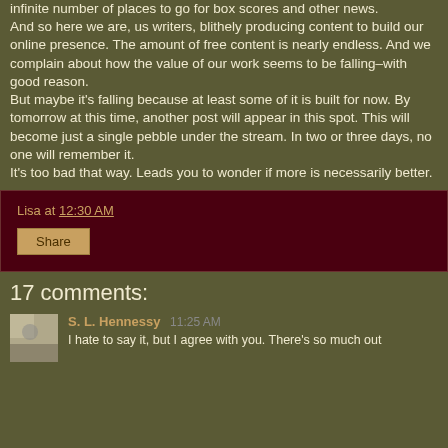infinite number of places to go for box scores and other news. And so here we are, us writers, blithely producing content to build our online presence. The amount of free content is nearly endless. And we complain about how the value of our work seems to be falling–with good reason. But maybe it's falling because at least some of it is built for now. By tomorrow at this time, another post will appear in this spot. This will become just a single pebble under the stream. In two or three days, no one will remember it. It's too bad that way. Leads you to wonder if more is necessarily better.
Lisa at 12:30 AM
Share
17 comments:
S. L. Hennessy 11:25 AM
I hate to say it, but I agree with you. There's so much out